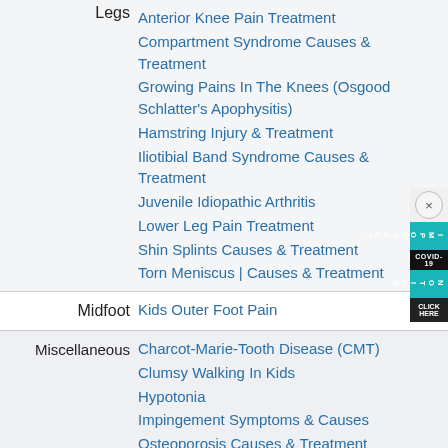Anterior Knee Pain Treatment
Compartment Syndrome Causes & Treatment
Growing Pains In The Knees (Osgood Schlatter's Apophysitis)
Hamstring Injury & Treatment
Iliotibial Band Syndrome Causes & Treatment
Juvenile Idiopathic Arthritis
Lower Leg Pain Treatment
Shin Splints Causes & Treatment
Torn Meniscus | Causes & Treatment
Kids Outer Foot Pain
Charcot-Marie-Tooth Disease (CMT)
Clumsy Walking In Kids
Hypotonia
Impingement Symptoms & Causes
Osteoporosis Causes & Treatment
Pregnancy & Your Feet
Rheumatoid Arthritis Treatment